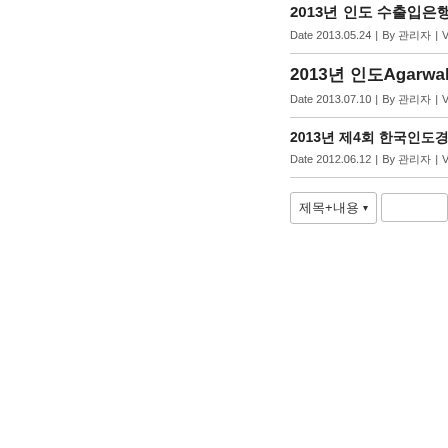2013년 인도 수출입은행 주 도 수 출입 관련
Date 2013.05.24 | By 관리자 | Vi
2013년 인도Agarwal Awar
Date 2013.07.10 | By 관리자 | Vi
2013년 제4회 한국인도경영 협회 행사
Date 2012.06.12 | By 관리자 | Vi
제목+내용 ▾ [search input]